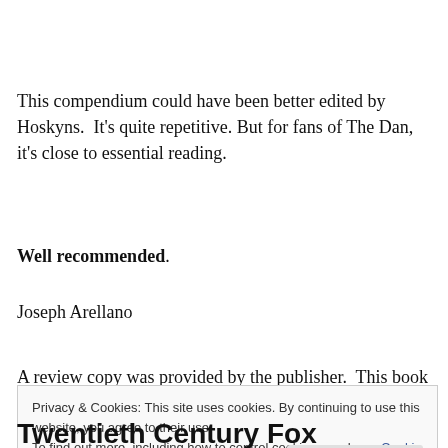This compendium could have been better edited by Hoskyns.  It's quite repetitive. But for fans of The Dan, it's close to essential reading.
Well recommended.
Joseph Arellano
A review copy was provided by the publisher.  This book
Privacy & Cookies: This site uses cookies. By continuing to use this website, you agree to their use.
To find out more, including how to control cookies, see here: Cookie Policy
Close and accept
Twentieth Century Fox